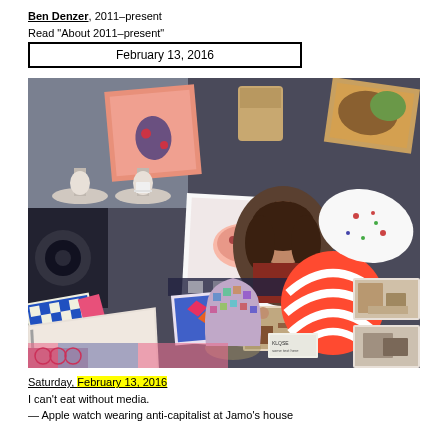Ben Denzer, 2011–present
Read "About 2011–present"
February 13, 2016
[Figure (photo): Collage/mood board photo showing various objects including food trays, decorative items, books, a ceramic vase, a striped ball, art prints, a woman's face partially visible, and small interior design photographs]
Saturday, February 13, 2016
I can't eat without media.
— Apple watch wearing anti-capitalist at Jamo's house